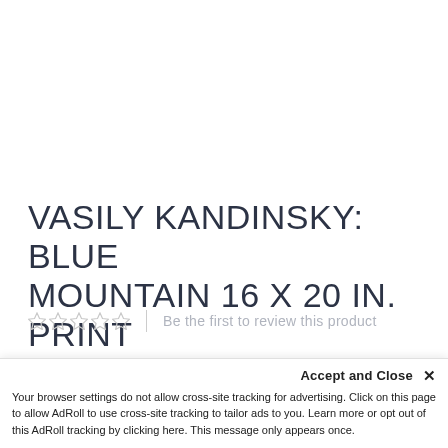VASILY KANDINSKY: BLUE MOUNTAIN 16 X 20 IN. PRINT
★★★★★  |  Be the first to review this product
Take home this reproduction of Vasily Kandinsky's Blue Mountain (Der blaue Berg), originally completed in
Accept and Close ✕
Your browser settings do not allow cross-site tracking for advertising. Click on this page to allow AdRoll to use cross-site tracking to tailor ads to you. Learn more or opt out of this AdRoll tracking by clicking here. This message only appears once.